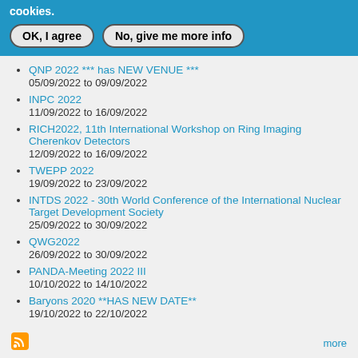cookies.
OK, I agree | No, give me more info
QNP 2022 *** has NEW VENUE ***
05/09/2022 to 09/09/2022
INPC 2022
11/09/2022 to 16/09/2022
RICH2022, 11th International Workshop on Ring Imaging Cherenkov Detectors
12/09/2022 to 16/09/2022
TWEPP 2022
19/09/2022 to 23/09/2022
INTDS 2022 - 30th World Conference of the International Nuclear Target Development Society
25/09/2022 to 30/09/2022
QWG2022
26/09/2022 to 30/09/2022
PANDA-Meeting 2022 III
10/10/2022 to 14/10/2022
Baryons 2020 **HAS NEW DATE**
19/10/2022 to 22/10/2022
more